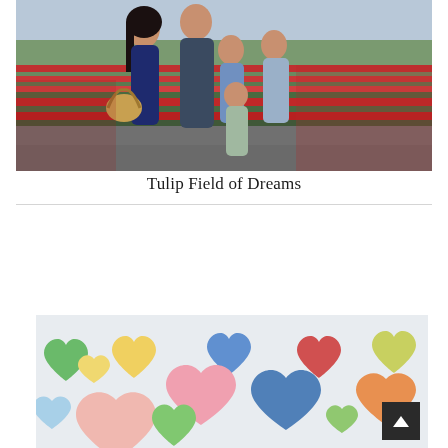[Figure (photo): A family of five standing in a tulip field. A woman in a navy dress holds a basket, a man in a blue shirt stands behind, and three boys are in front. Red and white tulips fill the background in rows.]
Tulip Field of Dreams
[Figure (photo): A wall mural covered in colorful painted hearts in green, yellow, blue, red, pink, orange, and other pastel colors on a light background.]